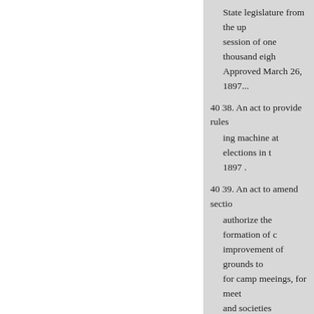State legislature from the up session of one thousand eigh Approved March 26, 1897...
40 38. An act to provide rules ing machine at elections in t 1897 .
40 39. An act to amend section authorize the formation of c improvement of grounds to for camp meeings, for meet and societies organized for i and for the promotion of the for any or all of such purpos eighteen hundred and eighty and twenty d, volume three amended by act number one acts of eighteen hundred an 26, 1897 ...
43 40. An act to repeal act num